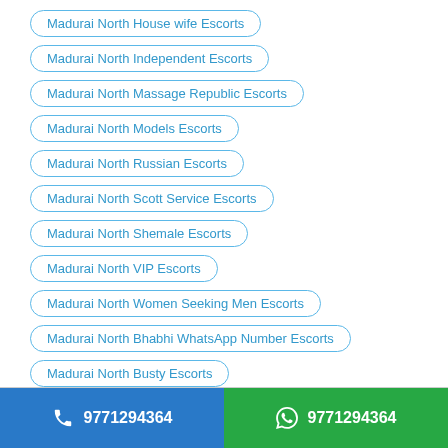Madurai North House wife Escorts
Madurai North Independent Escorts
Madurai North Massage Republic Escorts
Madurai North Models Escorts
Madurai North Russian Escorts
Madurai North Scott Service Escorts
Madurai North Shemale Escorts
Madurai North VIP Escorts
Madurai North Women Seeking Men Escorts
Madurai North Bhabhi WhatsApp Number Escorts
Madurai North Busty Escorts
Madurai North Hotel Rooms Escorts
Madurai North Relationship Escorts
9771294364   9771294364